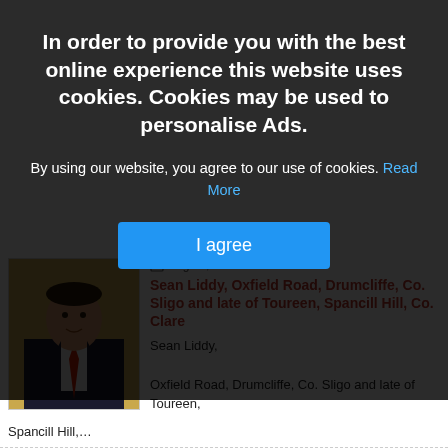[Figure (screenshot): Cookie consent overlay banner on a website showing obituary listings. The overlay has a dark semi-transparent background with bold white text asking users to agree to cookie usage, and a blue 'I agree' button. Behind the overlay, two obituary listing cards are partially visible: one for Sean Liddy of Oxfield Road, Drumcliffe, Co. Sligo and one for Peter Carroll, Market Square, Charlestown, Co. Mayo.]
In order to provide you with the best online experience this website uses cookies. Cookies may be used to personalise Ads.
By using our website, you agree to our use of cookies. Read More
I agree
Aug 14, 2022
Sean Liddy, Oxfield Road, Drumcliffe, Co. Sligo and late of Toureen, Spancill Hill, Co. Clare
Sean Liddy,

Oxfield Road, Drumcliffe, Co. Sligo and late of Toureen, Spancill Hill,...
Aug 14, 2022
Peter Carroll, Market Square, Charlestown, Co. Mayo
Peter Carroll,